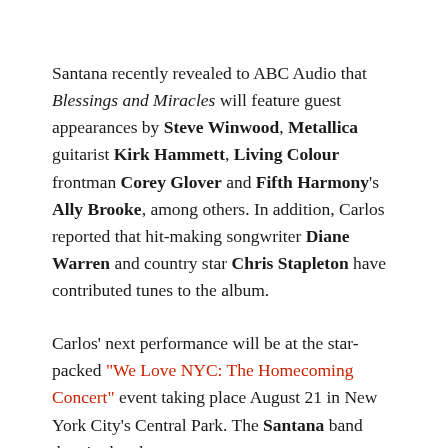Santana recently revealed to ABC Audio that Blessings and Miracles will feature guest appearances by Steve Winwood, Metallica guitarist Kirk Hammett, Living Colour frontman Corey Glover and Fifth Harmony's Ally Brooke, among others. In addition, Carlos reported that hit-making songwriter Diane Warren and country star Chris Stapleton have contributed tunes to the album.
Carlos' next performance will be at the star-packed "We Love NYC: The Homecoming Concert" event taking place August 21 in New York City's Central Park. The Santana band then is slated to